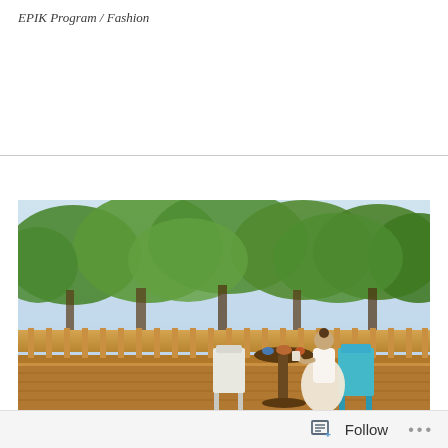EPIK Program / Fashion
[Figure (photo): A woman in a white top and pale flowing skirt sits on a wooden deck/terrace, drinking from a cup. She is seated at a small round table surrounded by lush green trees. A turquoise chair is visible to her right. The deck has wooden railing.]
Follow ...